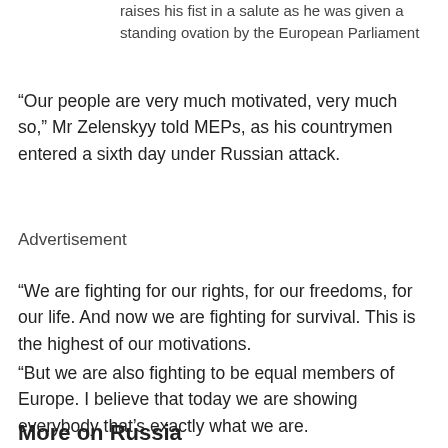raises his fist in a salute as he was given a standing ovation by the European Parliament
“Our people are very much motivated, very much so,” Mr Zelenskyy told MEPs, as his countrymen entered a sixth day under Russian attack.
Advertisement
“We are fighting for our rights, for our freedoms, for our life. And now we are fighting for survival. This is the highest of our motivations.
“But we are also fighting to be equal members of Europe. I believe that today we are showing everybody that’s exactly what we are.
More on Russia